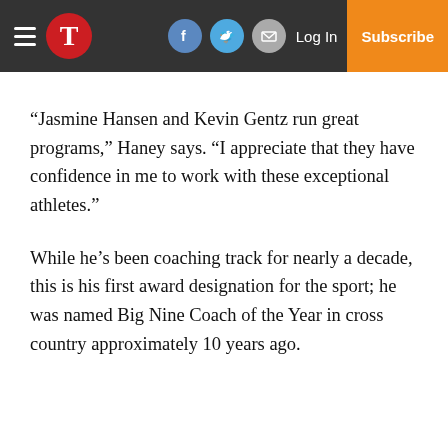T | Log In | Subscribe
“Jasmine Hansen and Kevin Gentz run great programs,” Haney says. “I appreciate that they have confidence in me to work with these exceptional athletes.”
While he’s been coaching track for nearly a decade, this is his first award designation for the sport; he was named Big Nine Coach of the Year in cross country approximately 10 years ago.